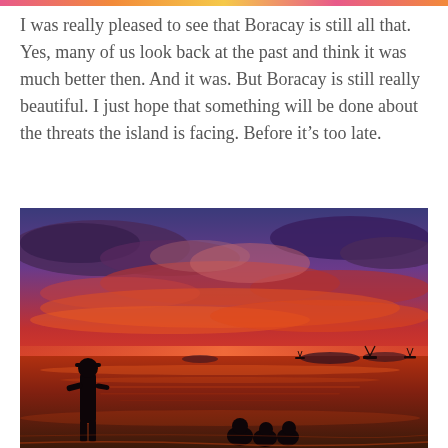I was really pleased to see that Boracay is still all that. Yes, many of us look back at the past and think it was much better then. And it was. But Boracay is still really beautiful. I just hope that something will be done about the threats the island is facing. Before it's too late.
[Figure (photo): A vivid sunset photograph at Boracay beach showing a dramatic red and orange sky with dark clouds. Silhouettes of a person standing and children crouching at the water's edge in the foreground. Boats visible on the horizon. The water reflects the red sky.]